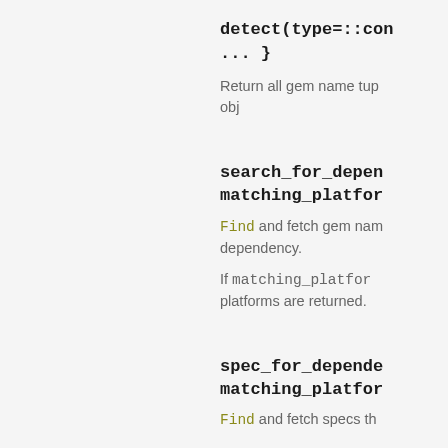detect(type=::con... }
Return all gem name tup obj
search_for_depen matching_platfor
Find and fetch gem nam dependency.
If matching_platfor platforms are returned.
spec_for_depende matching_platfor
Find and fetch specs th